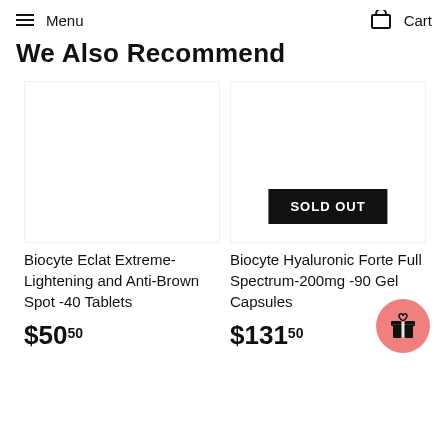Menu   Cart
We Also Recommend
[Figure (other): Product image area for Biocyte Eclat Extreme-Lightening and Anti-Brown Spot -40 Tablets (blank/white)]
[Figure (other): Product image area for Biocyte Hyaluronic Forte Full Spectrum-200mg -90 Gel Capsules with SOLD OUT badge overlay]
Biocyte Eclat Extreme-Lightening and Anti-Brown Spot -40 Tablets
$50.50
Biocyte Hyaluronic Forte Full Spectrum-200mg -90 Gel Capsules
$131.50